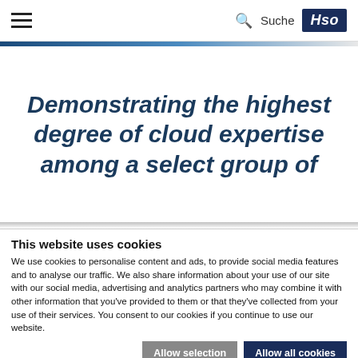HSO — Suche
Demonstrating the highest degree of cloud expertise among a select group of
This website uses cookies
We use cookies to personalise content and ads, to provide social media features and to analyse our traffic. We also share information about your use of our site with our social media, advertising and analytics partners who may combine it with other information that you've provided to them or that they've collected from your use of their services. You consent to our cookies if you continue to use our website.
Allow selection | Allow all cookies
Necessary  Preferences  Statistics  Marketing  Show details